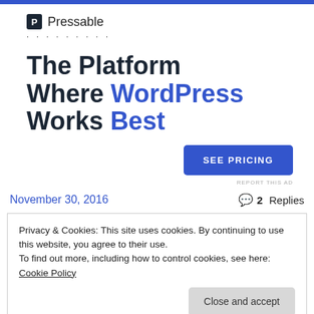[Figure (logo): Pressable logo with blue P icon and brand name]
The Platform Where WordPress Works Best
[Figure (other): SEE PRICING blue button]
REPORT THIS AD
November 30, 2016
2 Replies
Privacy & Cookies: This site uses cookies. By continuing to use this website, you agree to their use.
To find out more, including how to control cookies, see here: Cookie Policy
Close and accept
Search